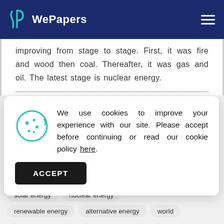WePapers
improving from stage to stage. First, it was fire and wood then coal. Thereafter, it was gas and oil. The latest stage is nuclear energy.
We use cookies to improve your experience with our site. Please accept before continuing or read our cookie policy here.
ACCEPT
disaster
atomic bomb
energy
solar energy
nuclear energy
renewable energy
alternative energy
world